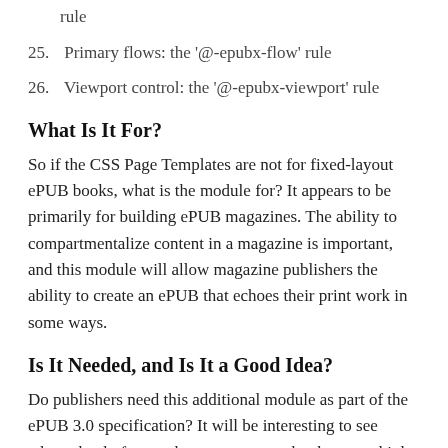rule
25. Primary flows: the '@-epubx-flow' rule
26. Viewport control: the '@-epubx-viewport' rule
What Is It For?
So if the CSS Page Templates are not for fixed-layout ePUB books, what is the module for? It appears to be primarily for building ePUB magazines. The ability to compartmentalize content in a magazine is important, and this module will allow magazine publishers the ability to create an ePUB that echoes their print work in some ways.
Is It Needed, and Is It a Good Idea?
Do publishers need this additional module as part of the ePUB 3.0 specification? It will be interesting to see where the draft goes, but one person who does not think CSS